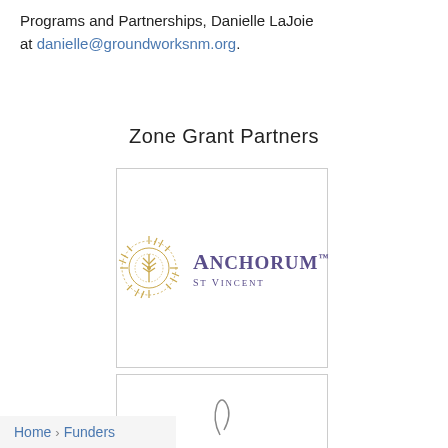Programs and Partnerships, Danielle LaJoie at danielle@groundworksnm.org.
Zone Grant Partners
[Figure (logo): Anchorum St Vincent logo: a gold sunburst/circular compass rose icon on the left, and 'ANCHORUM' in large purple letters with a trademark symbol, and 'ST VINCENT' in smaller purple spaced letters below.]
[Figure (logo): Partial view of a second partner logo, only the top portion visible at the bottom of the page.]
Home › Funders